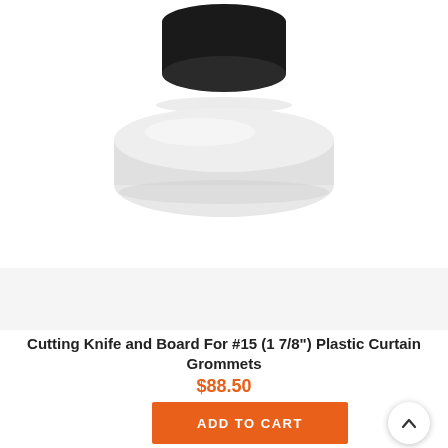[Figure (photo): Product photo showing two components: a black cylindrical cap on top and a white/cream circular disc/board below, both centered on a white background. These are the cutting knife and board for plastic curtain grommets.]
Cutting Knife and Board For #15 (1 7/8") Plastic Curtain Grommets
$88.50
ADD TO CART